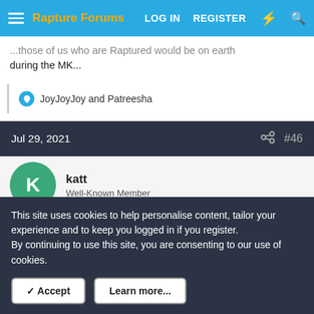Rapture Forums | LOG IN  REGISTER
...those of us who are Raptured would be on earth during the MK...
JoyJoyJoy and Patreesha
Jul 29, 2021  #46
katt
Well-Known Member
Speaking of the curse being removed from the earth and taken
This site uses cookies to help personalise content, tailor your experience and to keep you logged in if you register.
By continuing to use this site, you are consenting to our use of cookies.
✓ Accept  Learn more...